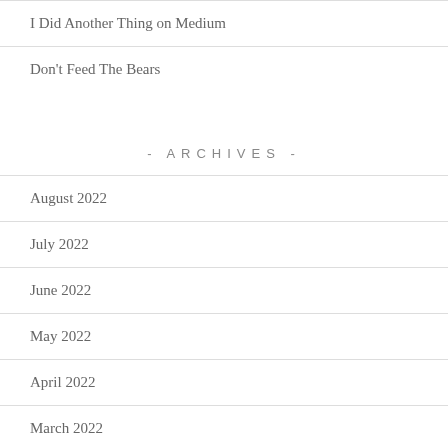I Did Another Thing on Medium
Don't Feed The Bears
- ARCHIVES -
August 2022
July 2022
June 2022
May 2022
April 2022
March 2022